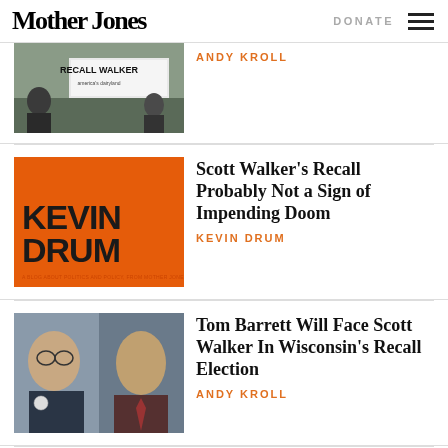Mother Jones | DONATE
[Figure (photo): Protest photo with 'Recall Walker' sign, partially visible at top]
ANDY KROLL
[Figure (illustration): Orange Kevin Drum blog banner with 'KEVIN DRUM' text]
Scott Walker's Recall Probably Not a Sign of Impending Doom
KEVIN DRUM
[Figure (photo): Tom Barrett and Scott Walker side-by-side photos]
Tom Barrett Will Face Scott Walker In Wisconsin's Recall Election
ANDY KROLL
[Figure (photo): Recall Governor sign partial photo]
Scott Walker Recall: Wisconsin Dems Choose